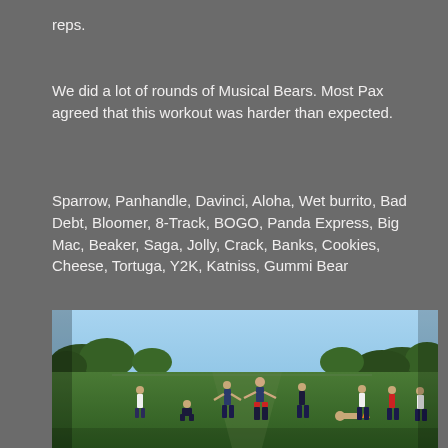reps.
We did a lot of rounds of Musical Bears. Most Pax agreed that this workout was harder than expected.
Sparrow, Panhandle, Davinci, Aloha, Wet burrito, Bad Debt, Bloomer, 8-Track, BOGO, Panda Express, Big Mac, Beaker, Saga, Jolly, Crack, Banks, Cookies, Cheese, Tortuga, Y2K, Katniss, Gummi Bear
[Figure (photo): Group of people exercising on a grass field outdoors, with a blue sky and trees in the background. Multiple participants are spread across the field in various exercise positions.]